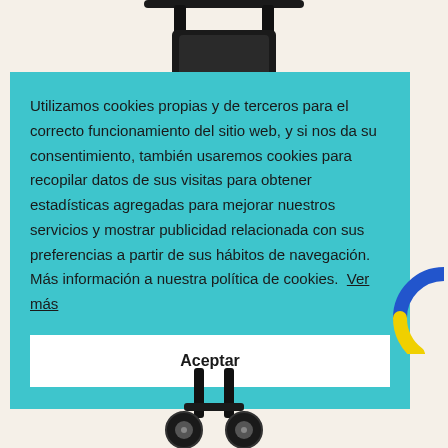[Figure (photo): Top portion of a black stroller/wheelchair on a cream background, showing wheels and frame]
Utilizamos cookies propias y de terceros para el correcto funcionamiento del sitio web, y si nos da su consentimiento, también usaremos cookies para recopilar datos de sus visitas para obtener estadísticas agregadas para mejorar nuestros servicios y mostrar publicidad relacionada con sus preferencias a partir de sus hábitos de navegación. Más información a nuestra política de cookies.  Ver más
Aceptar
[Figure (illustration): Partial circle/donut shape in blue and yellow visible at bottom right]
[Figure (photo): Bottom portion of a black stroller on a cream background, showing lower frame and wheels]